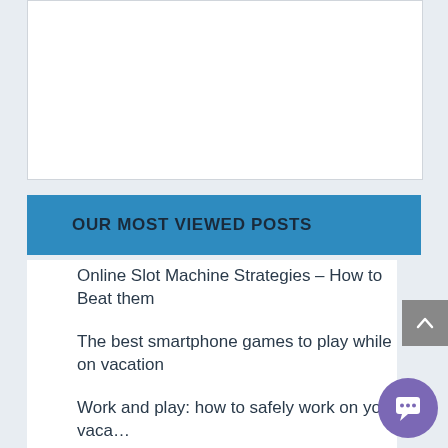[Figure (other): White empty content box area at top of page]
OUR MOST VIEWED POSTS
Online Slot Machine Strategies – How to Beat them
The best smartphone games to play while on vacation
Work and play: how to safely work on your vaca…
World of Hyatt Bonus Journeys is Back with Two Ways to Earn…